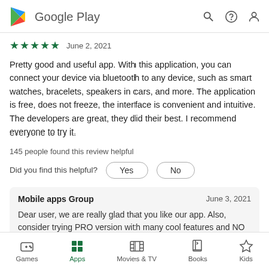Google Play
★★★★★ June 2, 2021
Pretty good and useful app. With this application, you can connect your device via bluetooth to any device, such as smart watches, bracelets, speakers in cars, and more. The application is free, does not freeze, the interface is convenient and intuitive. The developers are great, they did their best. I recommend everyone to try it.
145 people found this review helpful
Did you find this helpful?  Yes  No
Mobile apps Group  June 3, 2021
Dear user, we are really glad that you like our app. Also, consider trying PRO version with many cool features and NO ads. Your support and voice are
Games  Apps  Movies & TV  Books  Kids